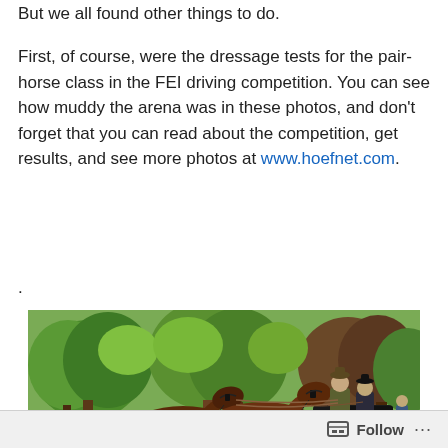But we all found other things to do.
First, of course, were the dressage tests for the pair-horse class in the FEI driving competition. You can see how muddy the arena was in these photos, and don't forget that you can read about the competition, get results, and see more photos at www.hoefnet.com.
.
[Figure (photo): A pair of brown horses pulling a black carriage with two riders in formal attire, competing in an FEI driving dressage event. The arena is surrounded by green trees and a white fence is visible in the background.]
Follow